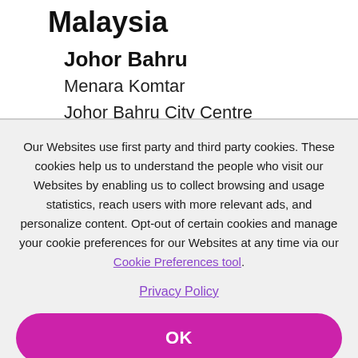Malaysia
Johor Bahru
Menara Komtar
Johor Bahru City Centre
Level 19
Our Websites use first party and third party cookies. These cookies help us to understand the people who visit our Websites by enabling us to collect browsing and usage statistics, reach users with more relevant ads, and personalize content. Opt-out of certain cookies and manage your cookie preferences for our Websites at any time via our Cookie Preferences tool.
Privacy Policy
OK